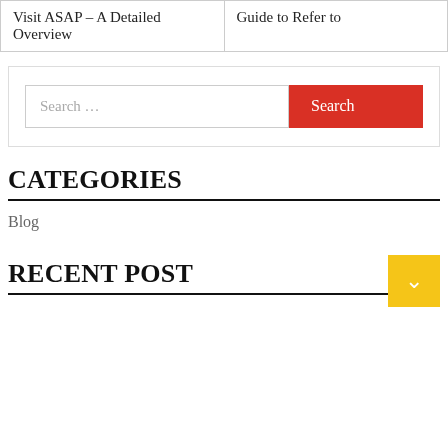| Visit ASAP – A Detailed Overview | Guide to Refer to |
Search ...
CATEGORIES
Blog
RECENT POST